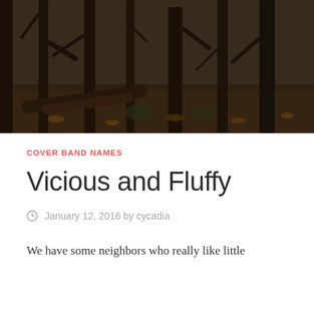[Figure (photo): Dark forest scene with tall thin tree trunks, fallen logs, and autumn leaf-covered ground in dim lighting]
COVER BAND NAMES
Vicious and Fluffy
January 12, 2016 by cycadia
We have some neighbors who really like little